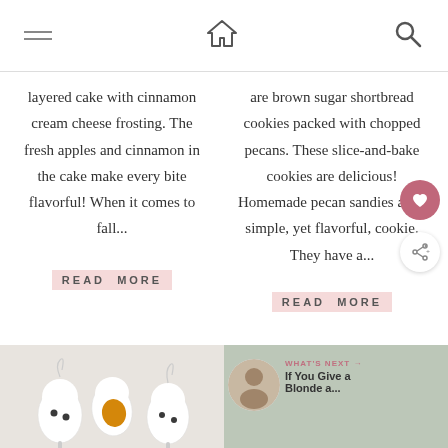Navigation bar with hamburger menu, home icon, and search icon
layered cake with cinnamon cream cheese frosting. The fresh apples and cinnamon in the cake make every bite flavorful! When it comes to fall...
READ MORE
are brown sugar shortbread cookies packed with chopped pecans. These slice-and-bake cookies are delicious! Homemade pecan sandies are a simple, yet flavorful, cookie. They have a...
READ MORE
[Figure (photo): Ghost-shaped cookies or treats on sticks, white chocolate coated with chocolate chip eyes, placed on white background]
[Figure (photo): Food blog thumbnail with 'WHAT'S NEXT' overlay showing a person image and text: If You Give a Blonde a...]